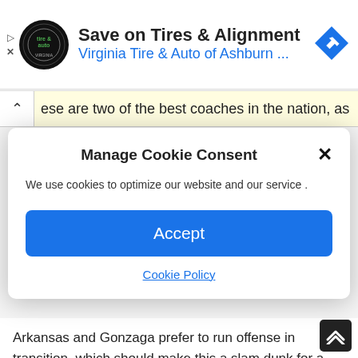[Figure (screenshot): Ad banner for Virginia Tire & Auto of Ashburn with logo circle, headline 'Save on Tires & Alignment', subtext 'Virginia Tire & Auto of Ashburn ...', and a blue diamond direction arrow icon on the right.]
ese are two of the best coaches in the nation, as
Manage Cookie Consent
We use cookies to optimize our website and our service .
Accept
Cookie Policy
Arkansas and Gonzaga prefer to run offense in transition, which should make this a slam dunk for a wager on the total to go over. The issue for the Razorbacks is that the Gonzaga defense does defend what the Hogs want to execute.